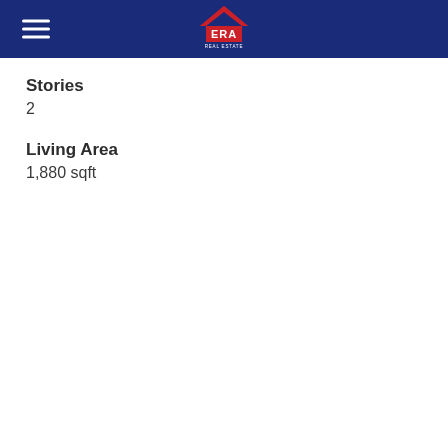ERA Real Estate
Stories
2
Living Area
1,880 sqft